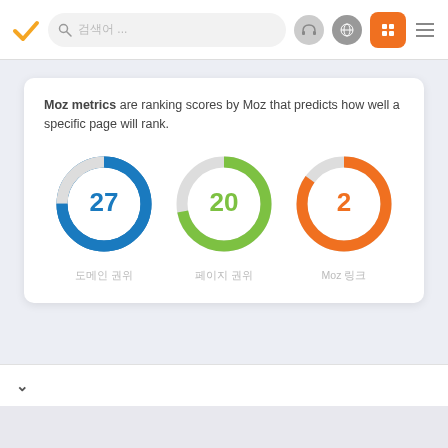[Figure (screenshot): Navigation bar with orange checkmark logo, search bar, headphone icon, globe icon, orange grid button, and hamburger menu]
Moz metrics are ranking scores by Moz that predicts how well a specific page will rank.
[Figure (donut-chart): Donut chart - value 27]
[Figure (donut-chart): Donut chart - value 20]
[Figure (donut-chart): Donut chart - value 2]
도메인 권위
페이지 권위
Moz 링크